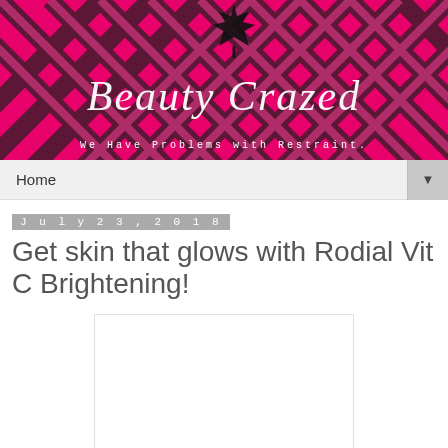[Figure (illustration): Beauty Crazed blog banner with pink and black plaid/tartan pattern background, a black maple leaf silhouette at top center, cursive white text reading 'Beauty Crazed', and monospace subtitle 'We Have Problems with Restraint.']
Home
July 23, 2018
Get skin that glows with Rodial Vit C Brightening!
[Figure (photo): White/blank image placeholder area]